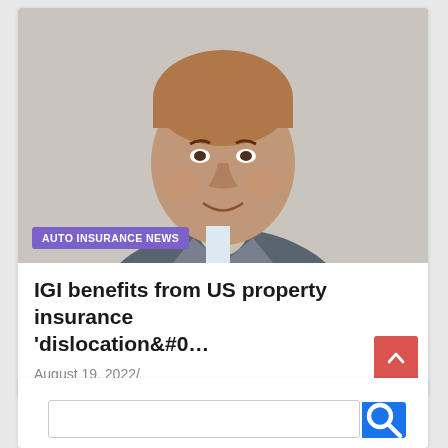[Figure (photo): Headshot of an older man in a grey suit and tie against a light grey background, smiling at the camera.]
AUTO INSURANCE NEWS
IGI benefits from US property insurance ‘dislocation&#0…
August 19, 2022/